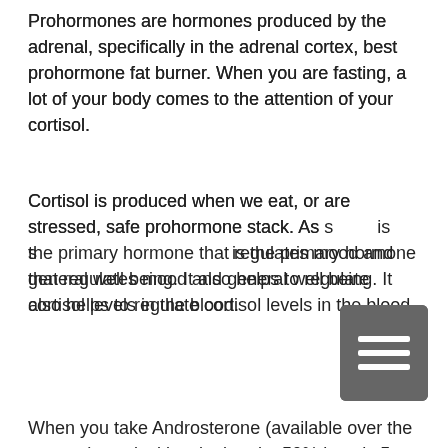Prohormones are hormones produced by the adrenal, specifically in the adrenal cortex, best prohormone fat burner. When you are fasting, a lot of your body comes to the attention of your cortisol.
Cortisol is produced when we eat, or are stressed, safe prohormone stack. As s... is the primary hormone that regulates mood and general well being. It also helps to regulate cortisol levels in the blood.
[Figure (other): Hamburger menu icon — three horizontal white lines on a dark grey rounded rectangle background]
When you take Androsterone (available over the counter), cortisol levels drop by 50% in only 5 days, safe prohormone stack. In other words, Androsterone is a very active "stress reliever" without affecting our mood or well being at all!
Prohormone and cortisol synergistically works together in the body like three superpowers.